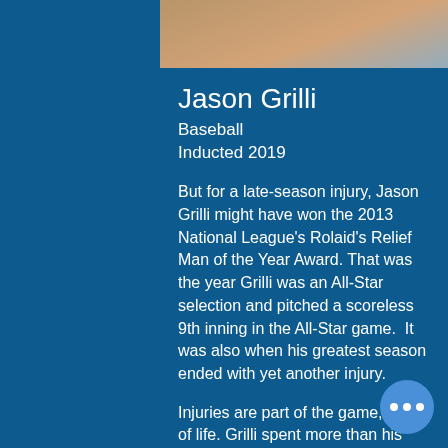[Figure (photo): Photo of Jason Grilli, baseball player, shown at top of card]
Jason Grilli
Baseball
Inducted 2019
But for a late-season injury, Jason Grilli might have won the 2013 National League's Rolaid's Relief Man of the Year Award. That was the year Grilli was an All-Star selection and pitched a scoreless 9th inning in the All-Star game.  It was also when his greatest season ended with yet another injury.
Injuries are part of the game, part of life. Grilli spent more than his share of time on baseball's disabled list due to a bulging disc in his upper back, strained right elbow and surgically-removed bone spur associated with a hairline fracture in his elbow.
Additionally, he missed almost all of the